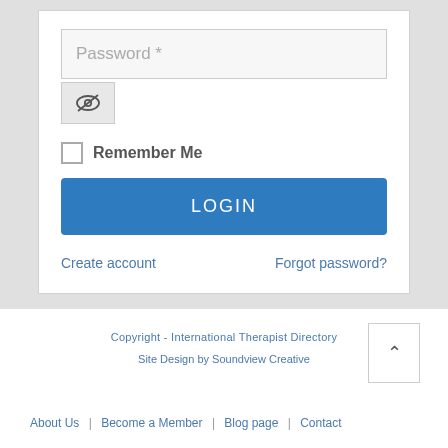[Figure (screenshot): Password input field with placeholder text 'Password *' on a light gray background]
[Figure (screenshot): Eye/hide password toggle button with a strikethrough eye icon]
Remember Me
LOGIN
Create account
Forgot password?
Copyright - International Therapist Directory
Site Design by Soundview Creative
About Us | Become a Member | Blog page | Contact